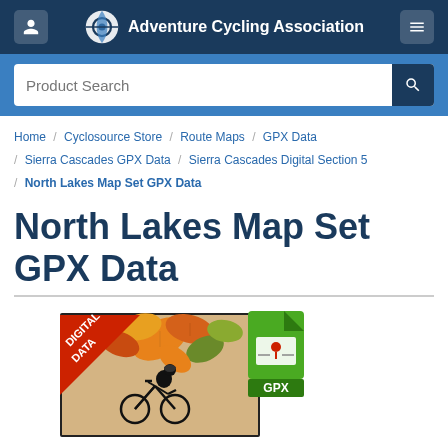Adventure Cycling Association
Product Search
Home / Cyclosource Store / Route Maps / GPX Data / Sierra Cascades GPX Data / Sierra Cascades Digital Section 5 / North Lakes Map Set GPX Data
North Lakes Map Set GPX Data
[Figure (illustration): Product illustration showing a cycling map with autumn leaves, a silhouette of a cyclist, a red 'DIGITAL DATA' banner in the corner, and a green GPX file icon]